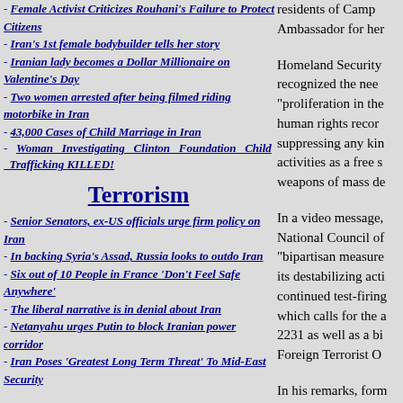- Female Activist Criticizes Rouhani's Failure to Protect Citizens
- Iran's 1st female bodybuilder tells her story
- Iranian lady becomes a Dollar Millionaire on Valentine's Day
- Two women arrested after being filmed riding motorbike in Iran
- 43,000 Cases of Child Marriage in Iran
- Woman Investigating Clinton Foundation Child Trafficking KILLED!
Terrorism
- Senior Senators, ex-US officials urge firm policy on Iran
- In backing Syria's Assad, Russia looks to outdo Iran
- Six out of 10 People in France 'Don't Feel Safe Anywhere'
- The liberal narrative is in denial about Iran
- Netanyahu urges Putin to block Iranian power corridor
- Iran Poses 'Greatest Long Term Threat' To Mid-East Security
Contact Us
residents of Camp ... Ambassador for her...
Homeland Security recognized the need "proliferation in the human rights record suppressing any kind activities as a free s weapons of mass de...
In a video message, National Council of "bipartisan measure its destabilizing act continued test-firing which calls for the a 2231 as well as a bi Foreign Terrorist O...
In his remarks, form bipartisan consensu and there's a real in changing what exist than the program, th behalf of the Natio...